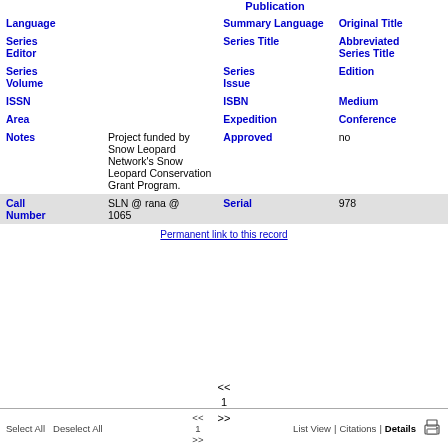| Field | Value | Field2 | Value2 |
| --- | --- | --- | --- |
|  | Publication |  |  |
| Language |  | Summary Language | Original Title |
| Series Editor |  | Series Title | Abbreviated Series Title |
| Series Volume |  | Series Issue | Edition |
| ISSN |  | ISBN | Medium |
| Area |  | Expedition | Conference |
| Notes | Project funded by Snow Leopard Network's Snow Leopard Conservation Grant Program. | Approved | no |
| Call Number | SLN @ rana @ 1065 | Serial | 978 |
Permanent link to this record
<< 1 >>
Select All  Deselect All  List View | Citations | Details